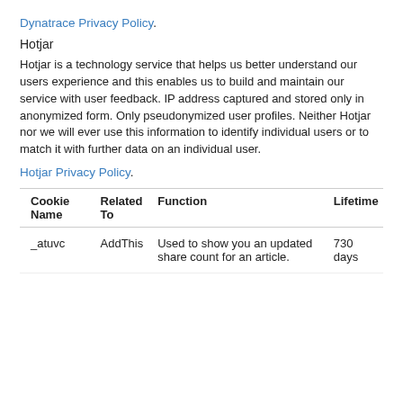Dynatrace Privacy Policy.
Hotjar
Hotjar is a technology service that helps us better understand our users experience and this enables us to build and maintain our service with user feedback. IP address captured and stored only in anonymized form. Only pseudonymized user profiles. Neither Hotjar nor we will ever use this information to identify individual users or to match it with further data on an individual user.
Hotjar Privacy Policy.
| Cookie Name | Related To | Function | Lifetime |
| --- | --- | --- | --- |
| _atuvc | AddThis | Used to show you an updated share count for an article. | 730 days |